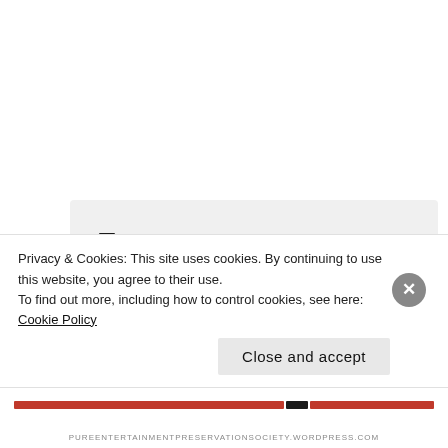[Figure (logo): PEPS circular logo — black circle with musical notes on left and right sides, 'PEPS' text in white center, small icon top and bottom]
cottagecaretakersyahoocom
Here is my article:
https://pureentertainmentpreservationsociety.wordpress.com/2017/07/02/straw
Privacy & Cookies: This site uses cookies. By continuing to use this website, you agree to their use.
To find out more, including how to control cookies, see here: Cookie Policy
Close and accept